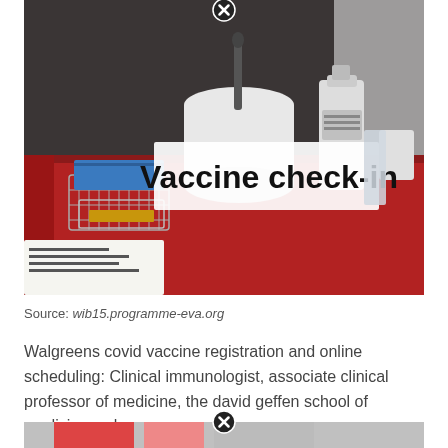[Figure (photo): A vaccine check-in table covered with a red tablecloth, showing a sign reading 'Vaccine check-in', a bucket with wipes, a sanitizer bottle, and wire organizer baskets with papers.]
Source: wib15.programme-eva.org
Walgreens covid vaccine registration and online scheduling: Clinical immunologist, associate clinical professor of medicine, the david geffen school of medicine, ucla.
[Figure (photo): Partial view of another image at the bottom of the page (cropped).]